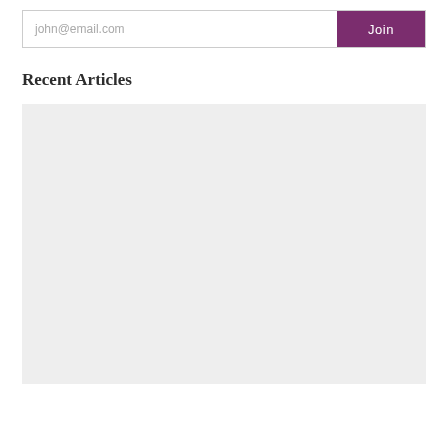john@email.com
Join
Recent Articles
[Figure (other): Large light gray rectangular placeholder image area]